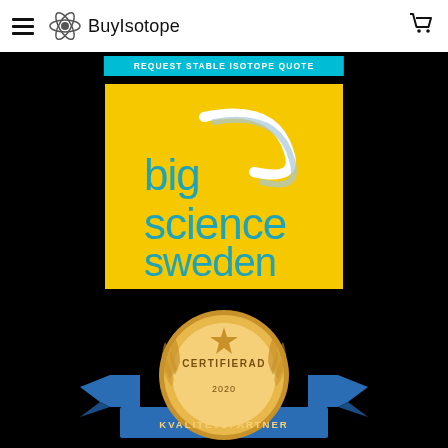BuyIsotope
REQUEST STABLE ISOTOPE QUOTE
[Figure (logo): Big Science Sweden logo — yellow background with teal lowercase text 'big science sweden' and a stylized white/grey swoosh arc]
[Figure (logo): Gold medal badge with blue ribbon banner reading 'CERTIFIERAD KVALITETSPARTNER 2020']